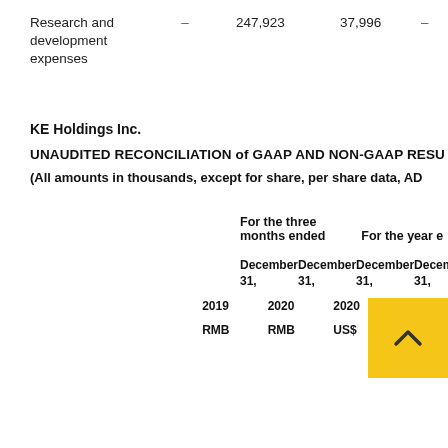|  | – | 247,923 | 37,996 | – |
| --- | --- | --- | --- | --- |
| Research and development expenses | – | 247,923 | 37,996 | – |
KE Holdings Inc.
UNAUDITED RECONCILIATION of GAAP AND NON-GAAP RESU
(All amounts in thousands, except for share, per share data, AD
|  | For the three months ended |  |  | For the year e |  |
| --- | --- | --- | --- | --- | --- |
|  | December 31, 2019 RMB | December 31, 2020 RMB | December 31, 2020 US$ | December 31, 20[..] RMB | D [...] [...] |